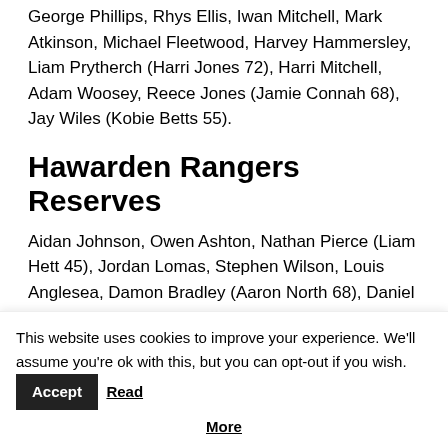George Phillips, Rhys Ellis, Iwan Mitchell, Mark Atkinson, Michael Fleetwood, Harvey Hammersley, Liam Prytherch (Harri Jones 72), Harri Mitchell, Adam Woosey, Reece Jones (Jamie Connah 68), Jay Wiles (Kobie Betts 55).
Hawarden Rangers Reserves
Aidan Johnson, Owen Ashton, Nathan Pierce (Liam Hett 45), Jordan Lomas, Stephen Wilson, Louis Anglesea, Damon Bradley (Aaron North 68), Daniel Jones (Joshua Edwards 74), Eric Thomas, Alun Wilson, Luis Rowland,
This website uses cookies to improve your experience. We'll assume you're ok with this, but you can opt-out if you wish. Accept Read More